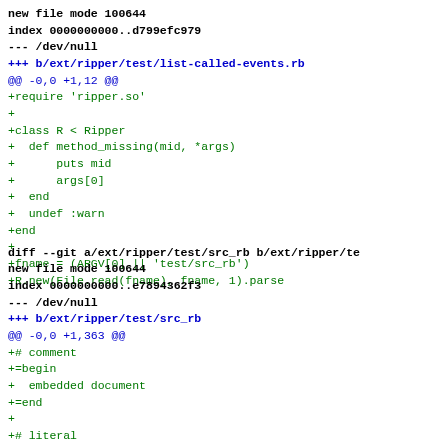new file mode 100644
index 0000000000..d799efc979
--- /dev/null
+++ b/ext/ripper/test/list-called-events.rb
@@ -0,0 +1,12 @@
+require 'ripper.so'
+
+class R < Ripper
+  def method_missing(mid, *args)
+      puts mid
+      args[0]
+  end
+  undef :warn
+end
+
+fname = (ARGV[0] || 'test/src_rb')
+R.new(File.read(fname), fname, 1).parse
diff --git a/ext/ripper/test/src_rb b/ext/ripper/te
new file mode 100644
index 0000000000..e7894362f3
--- /dev/null
+++ b/ext/ripper/test/src_rb
@@ -0,0 +1,363 @@
+# comment
+=begin
+  embedded document
+=end
+
+# literal
+1